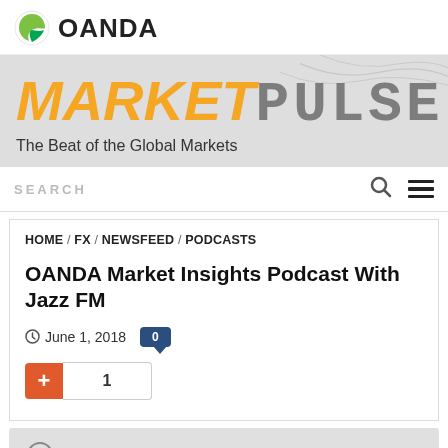[Figure (logo): OANDA logo with green leaf icon and OANDA text]
[Figure (logo): MarketPulse banner with orange MARKET text and dot-matrix PULSE text, subtitle: The Beat of the Global Markets]
SEARCH
HOME / FX / NEWSFEED / PODCASTS
OANDA Market Insights Podcast With Jazz FM
June 1, 2018  0
+ 1